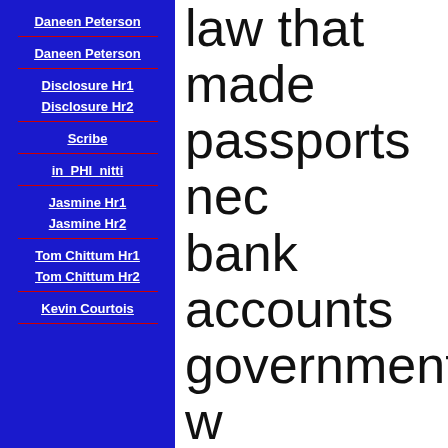Daneen Peterson
Daneen Peterson
Disclosure Hr1
Disclosure Hr2
Scribe
in PHI nitti
Jasmine Hr1
Jasmine Hr2
Tom Chittum Hr1
Tom Chittum Hr2
Kevin Courtois
law that made passports nec… bank accounts… government w… President, Pri… country, docto… arrested, bank… government b…
5:12 AM · Jan 9, 2022
The QR Codification/digita…
But, like all their losses a…